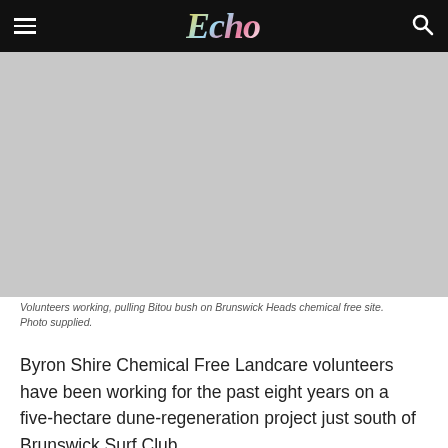Echo
[Figure (photo): Gray placeholder area representing volunteers working pulling Bitou bush on Brunswick Heads chemical free site]
Volunteers working, pulling Bitou bush on Brunswick Heads chemical free site. Photo supplied.
Byron Shire Chemical Free Landcare volunteers have been working for the past eight years on a five-hectare dune-regeneration project just south of Brunswick Surf Club.